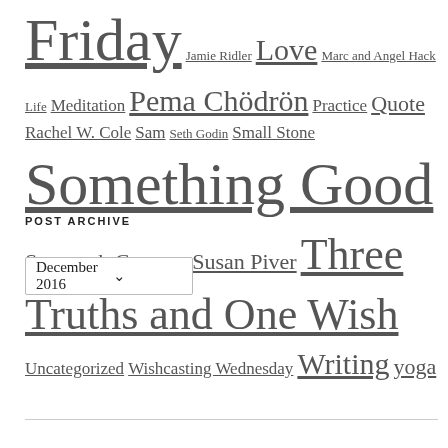Friday Jamie Ridler Love Marc and Angel Hack Life Meditation Pema Chödrön Practice Quote Rachel W. Cole Sam Seth Godin Small Stone Something Good Susannah Conway Susan Piver Three Truths and One Wish Uncategorized Wishcasting Wednesday Writing yoga
POST ARCHIVE
December 2016